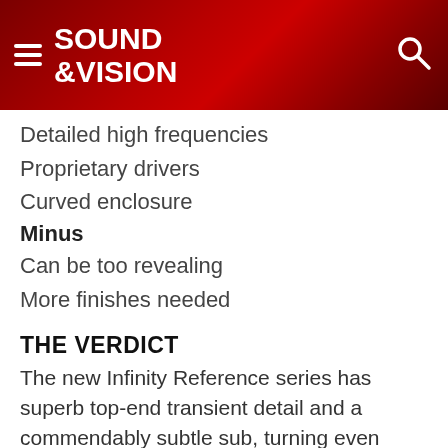SOUND &VISION
Detailed high frequencies
Proprietary drivers
Curved enclosure
Minus
Can be too revealing
More finishes needed
THE VERDICT
The new Infinity Reference series has superb top-end transient detail and a commendably subtle sub, turning even familiar material into a fresh experience.
"Attention to detail." That was my mantra when I